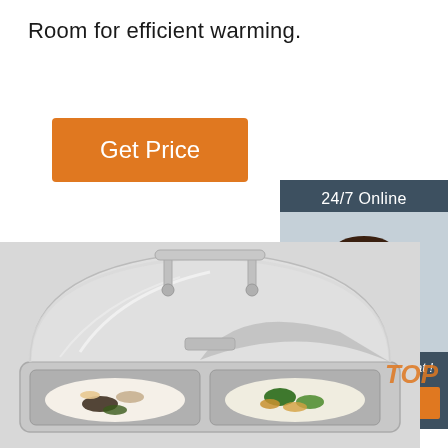Room for efficient warming.
[Figure (other): Orange 'Get Price' button with white text on orange background]
[Figure (photo): Stainless steel chafing dish with open lid, showing two compartments filled with food (pasta/mixed dish and broccoli/vegetables), photographed against a light grey background]
[Figure (infographic): 24/7 Online customer service widget showing a smiling woman with a headset, text 'Click here for free chat!' and an orange QUOTATION button]
TOP